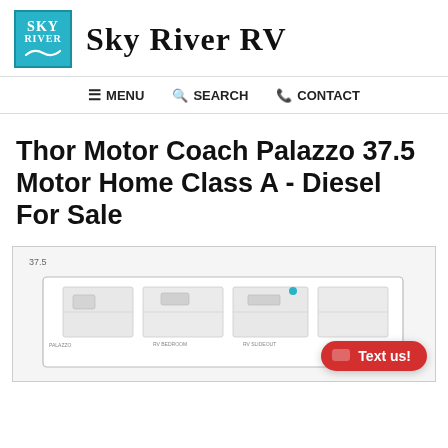Sky River RV
≡ MENU   🔍 SEARCH   📞 CONTACT
Thor Motor Coach Palazzo 37.5 Motor Home Class A - Diesel For Sale
[Figure (illustration): Floor plan diagram of the Thor Motor Coach Palazzo 37.5 Motor Home showing layout from above, with label '37.5'. A red 'Text us!' button is overlaid in the bottom right.]